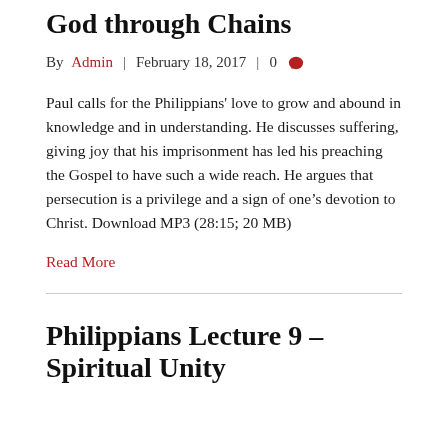Philippians Lecture 8 – Glory to God through Chains
By Admin | February 18, 2017 | 0
Paul calls for the Philippians' love to grow and abound in knowledge and in understanding. He discusses suffering, giving joy that his imprisonment has led his preaching the Gospel to have such a wide reach. He argues that persecution is a privilege and a sign of one's devotion to Christ. Download MP3 (28:15; 20 MB)
Read More
Philippians Lecture 9 – Spiritual Unity